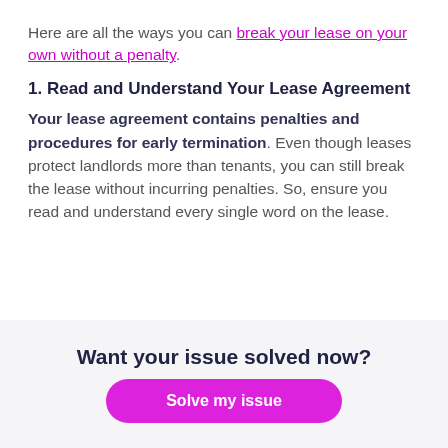Here are all the ways you can break your lease on your own without a penalty.
1. Read and Understand Your Lease Agreement
Your lease agreement contains penalties and procedures for early termination. Even though leases protect landlords more than tenants, you can still break the lease without incurring penalties. So, ensure you read and understand every single word on the lease.
Want your issue solved now?
Solve my issue